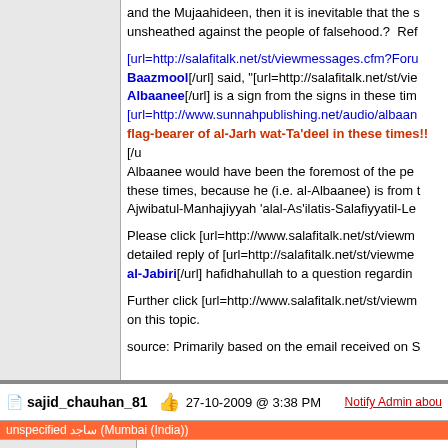and the Mujaahideen, then it is inevitable that the sword is unsheathed against the people of falsehood.? Refe...
[url=http://salafitalk.net/st/viewmessages.cfm?Forum... Baazmool[/url] said, "[url=http://salafitalk.net/st/view... Albaanee[/url] is a sign from the signs in these time... [url=http://www.sunnahpublishing.net/audio/albaane... flag-bearer of al-Jarh wat-Ta'deel in these times!![/u... Albaanee would have been the foremost of the peo... these times, because he (i.e. al-Albaanee) is from th... Ajwibatul-Manhajiyyah 'alal-As'ilatis-Salafiyyatil-Lee...
Please click [url=http://www.salafitalk.net/st/viewme... detailed reply of [url=http://salafitalk.net/st/viewmes... al-Jabiri[/url] hafidhahullah to a question regarding...
Further click [url=http://www.salafitalk.net/st/viewme... on this topic.
source: Primarily based on the email received on S...
sajid_chauhan_81  27-10-2009 @ 3:38 PM  Notify Admin abou...
unspecified ساجد (Mumbai (India))
Member
Posts: 2031
Joined: Jul 2005
Ash-Shaykh Abdul Muhsin aal Obeikan hafidhahull... wa ta'adeel [url=http://al-obeikan.com/show_fatwa/67...
It would be good if one of the brothers/sisters can tr...
sajid_chauhan_81  31-01-2010 @ 1:24 AM  Notify Admin abou...